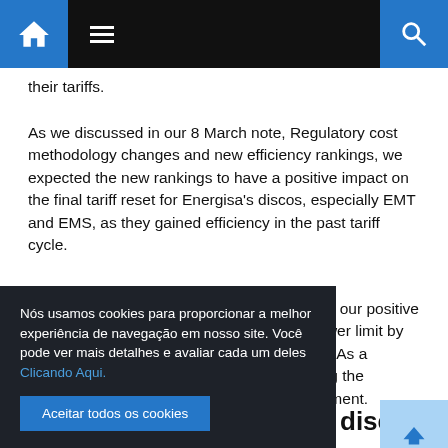Navigation bar with home, menu, and search icons
their tariffs.
As we discussed in our 8 March note, Regulatory cost methodology changes and new efficiency rankings, we expected the new rankings to have a positive impact on the final tariff reset for Energisa's discos, especially EMT and EMS, as they gained efficiency in the past tariff cycle.
proved our positive the lower limit by ure 3). As a helping the adjustment.
disco privatization
Nós usamos cookies para proporcionar a melhor experiência de navegação em nosso site. Você pode ver mais detalhes e avaliar cada um deles Clicando Aqui.
Aceitar todos os cookies